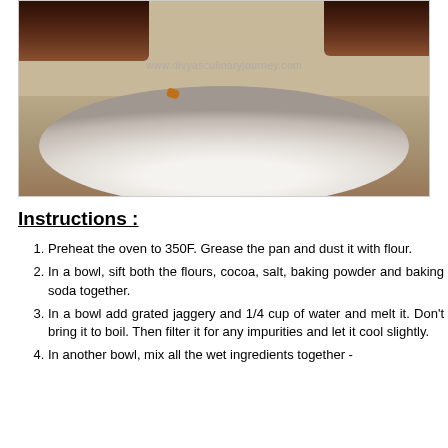[Figure (photo): Photo of chocolate cake slices on a white plate, with watermark www.divyasculinaryjourney.com]
Instructions :
Preheat the oven to 350F. Grease the pan and dust it with flour.
In a bowl, sift both the flours, cocoa, salt, baking powder and baking soda together.
In a bowl add grated jaggery and 1/4 cup of water and melt it. Don't bring it to boil. Then filter it for any impurities and let it cool slightly.
In another bowl, mix all the wet ingredients together -